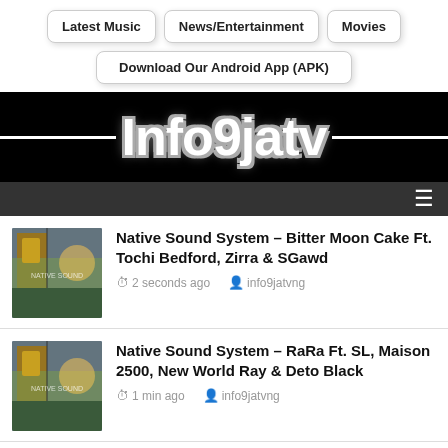Latest Music | News/Entertainment | Movies
Download Our Android App (APK)
[Figure (logo): Info9jatv website logo — white stylized text on black background with white horizontal lines flanking the text]
Navigation menu bar with hamburger icon
[Figure (photo): Album artwork thumbnail for Native Sound System]
Native Sound System – Bitter Moon Cake Ft. Tochi Bedford, Zirra & SGawd
2 seconds ago   info9jatvng
[Figure (photo): Album artwork thumbnail for Native Sound System]
Native Sound System – RaRa Ft. SL, Maison 2500, New World Ray & Deto Black
1 min ago   info9jatvng